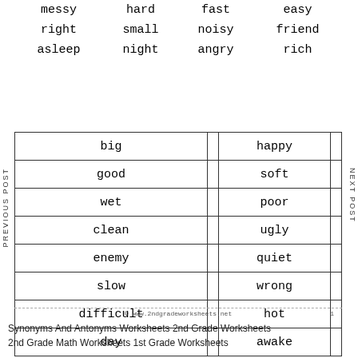| messy | hard | fast | easy |
| right | small | noisy | friend |
| asleep | night | angry | rich |
| big |  | happy |  |
| --- | --- | --- | --- |
| good |  | soft |  |
| wet |  | poor |  |
| clean |  | ugly |  |
| enemy |  | quiet |  |
| slow |  | wrong |  |
| difficult |  | hot |  |
| day |  | awake |  |
© www.2ndgradeworksheets.net  1
Synonyms And Antonyms Worksheets 2nd Grade Worksheets 2nd Grade Math Worksheets 1st Grade Worksheets